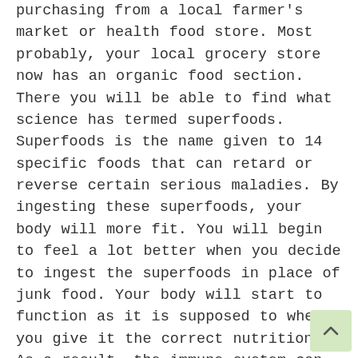purchasing from a local farmer's market or health food store. Most probably, your local grocery store now has an organic food section. There you will be able to find what science has termed superfoods. Superfoods is the name given to 14 specific foods that can retard or reverse certain serious maladies. By ingesting these superfoods, your body will more fit. You will begin to feel a lot better when you decide to ingest the superfoods in place of junk food. Your body will start to function as it is supposed to when you give it the correct nutrition. As a result, the immune system can fight off any health condition. Your daily diet have to contain at least several of these super foods. Why